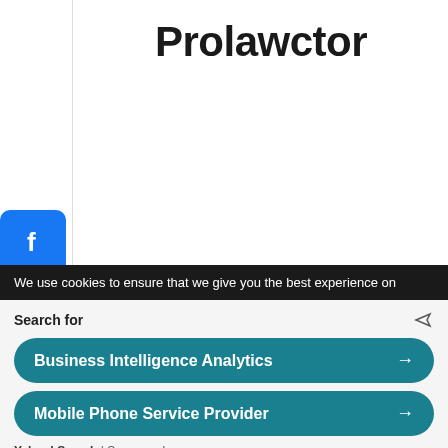Prolawctor
[Figure (infographic): Pure Earth advertisement banner: black left panel with text 'We believe the global pollution crisis can be solved. In a world where pollution doesn't stop at borders, we can all be part of the solution.' Right panel white with orange JOIN US button and Pure Earth logo with diamond shield icon.]
[Figure (infographic): Left sidebar with social sharing buttons: Facebook (blue), WhatsApp (green), LinkedIn (blue), Telegram (blue), and a share plus button (blue).]
We use cookies to ensure that we give you the best experience on
Search for
Business Intelligence Analytics
Mobile Phone Service Provider
Yahoo! Search | Sponsored